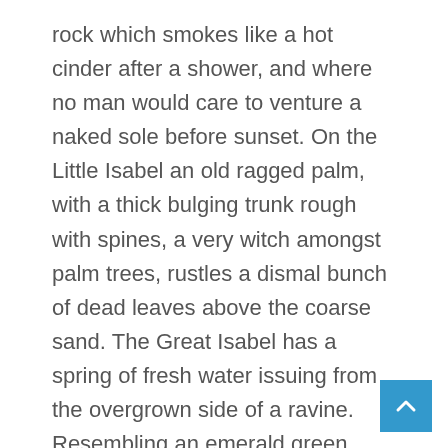rock which smokes like a hot cinder after a shower, and where no man would care to venture a naked sole before sunset. On the Little Isabel an old ragged palm, with a thick bulging trunk rough with spines, a very witch amongst palm trees, rustles a dismal bunch of dead leaves above the coarse sand. The Great Isabel has a spring of fresh water issuing from the overgrown side of a ravine. Resembling an emerald green wedge of land a mile long, and laid flat upon the sea, it bears two forest trees standing close together, with a wide spread of shade at the foot of their smooth trunks. A ravine extending the whole length of the island is full of bushes; and presenting a deep tangled cleft on the high side spreads itself out on the